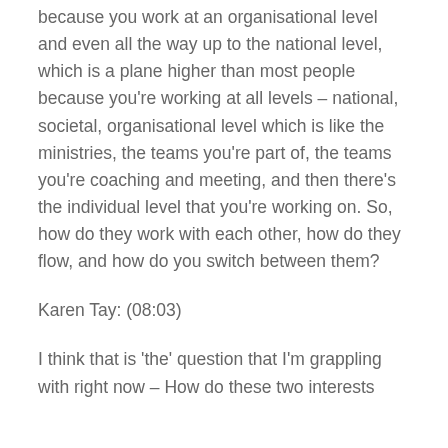because you work at an organisational level and even all the way up to the national level, which is a plane higher than most people because you're working at all levels – national, societal, organisational level which is like the ministries, the teams you're part of, the teams you're coaching and meeting, and then there's the individual level that you're working on. So, how do they work with each other, how do they flow, and how do you switch between them?
Karen Tay: (08:03)
I think that is 'the' question that I'm grappling with right now – How do these two interests